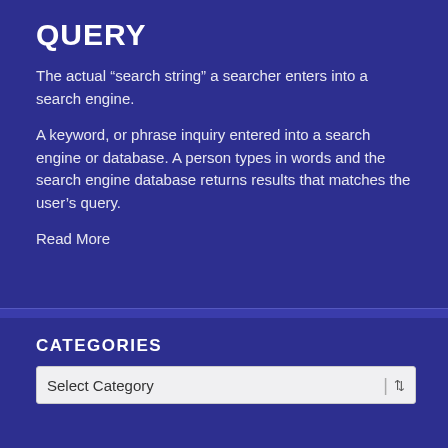QUERY
The actual “search string” a searcher enters into a search engine.
A keyword, or phrase inquiry entered into a search engine or database. A person types in words and the search engine database returns results that matches the user’s query.
Read More
CATEGORIES
Select Category